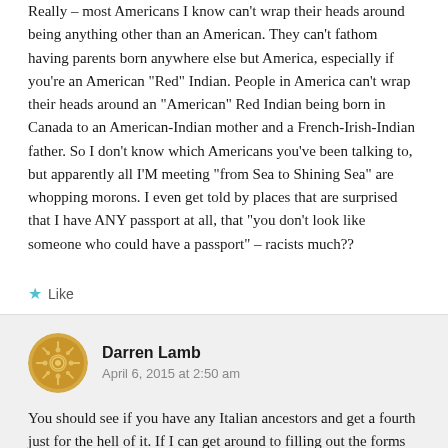Really – most Americans I know can't wrap their heads around being anything other than an American. They can't fathom having parents born anywhere else but America, especially if you're an American “Red” Indian. People in America can't wrap their heads around an “American” Red Indian being born in Canada to an American-Indian mother and a French-Irish-Indian father. So I don't know which Americans you've been talking to, but apparently all I'M meeting “from Sea to Shining Sea” are whopping morons. I even get told by places that are surprised that I have ANY passport at all, that “you don’t look like someone who could have a passport” – racists much??
★ Like
Darren Lamb
April 6, 2015 at 2:50 am
You should see if you have any Italian ancestors and get a fourth just for the hell of it. If I can get around to filling out the forms for the British passport, I’ll be rocking a US/Australian/British